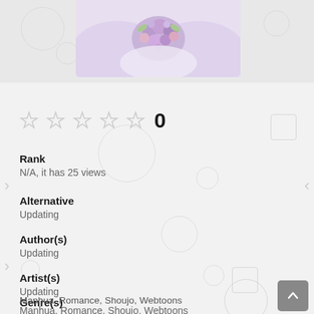[Figure (photo): Manga/manhwa cover image showing a figure in light purple/lavender dress holding a bouquet of purple and pink flowers, cropped at top]
★★★★★ 0
Rank
N/A, it has 25 views
Alternative
Updating
Author(s)
Updating
Artist(s)
Updating
Genre(s)
Manhua,  Romance,  Shoujo,  Webtoons